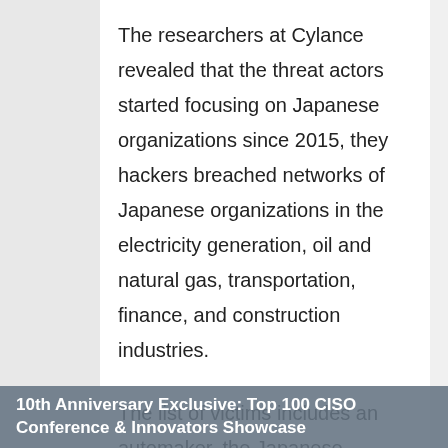The researchers at Cylance revealed that the threat actors started focusing on Japanese organizations since 2015, they hackers breached networks of Japanese organizations in the electricity generation, oil and natural gas, transportation,  finance, and construction industries.
The list of victims includes an automaker, the Japanese subsidiary of a South Korean electric utility firm, and an oil and gas company.
The hackers demonstrated the availability of unique backdoors and zero-day exploits in their arsenal, used to launch watering
10th Anniversary Exclusive: Top 100 CISO Conference & Innovators Showcase